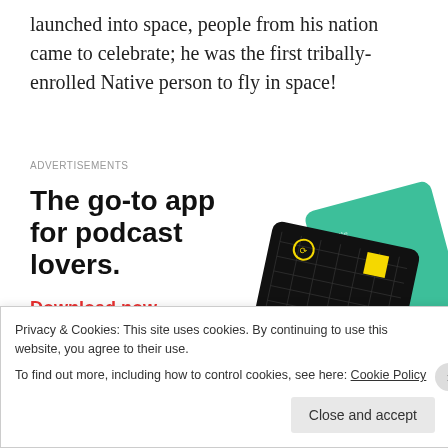launched into space, people from his nation came to celebrate; he was the first tribally-enrolled Native person to fly in space!
[Figure (screenshot): Advertisement banner for a podcast app. Headline: 'The go-to app for podcast lovers.' with a red 'Download now' CTA link, and images of podcast app cards including '99% Invisible' on a black card, a green card, and a blue card.]
Privacy & Cookies: This site uses cookies. By continuing to use this website, you agree to their use.
To find out more, including how to control cookies, see here: Cookie Policy